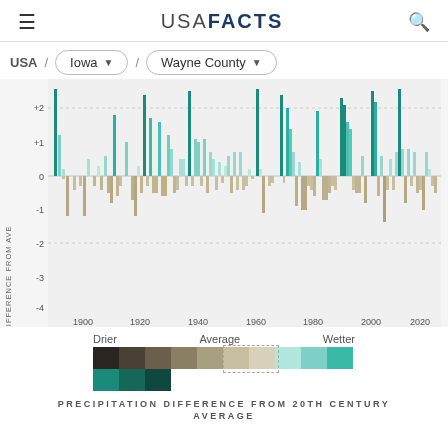USA FACTS
USA / Iowa / Wayne County
[Figure (bar-chart): Bar chart showing precipitation difference from 20th century average for Wayne County, Iowa from ~1895 to ~2023. Bars above zero are teal/green (wetter), bars below zero are tan/brown (drier). Y-axis ranges from -4 to +2.]
Drier  Average  Wetter — color legend for precipitation difference
PRECIPITATION DIFFERENCE FROM 20TH CENTURY AVERAGE
AVERAGE